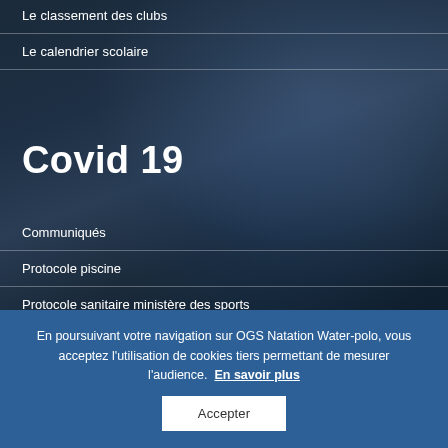Le classement des clubs
Le calendrier scolaire
Covid 19
Communiqués
Protocole piscine
Protocole sanitaire ministère des sports
En poursuivant votre navigation sur OGS Natation Water-polo, vous acceptez l'utilisation de cookies tiers permettant de mesurer l'audience. En savoir plus
Accepter